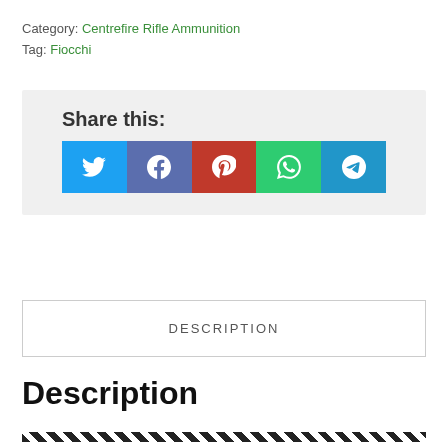Category: Centrefire Rifle Ammunition
Tag: Fiocchi
[Figure (infographic): Share this: section with social media buttons — Twitter (blue), Facebook (purple-blue), Pinterest (red), WhatsApp (green), Telegram (blue)]
DESCRIPTION
Description